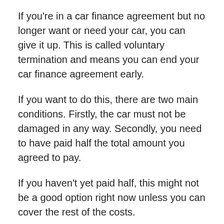If you're in a car finance agreement but no longer want or need your car, you can give it up. This is called voluntary termination and means you can end your car finance agreement early.
If you want to do this, there are two main conditions. Firstly, the car must not be damaged in any way. Secondly, you need to have paid half the total amount you agreed to pay.
If you haven't yet paid half, this might not be a good option right now unless you can cover the rest of the costs.
If you want to start voluntary termination you should contact your dealer in writing. It's best to do this by email in the current situation.